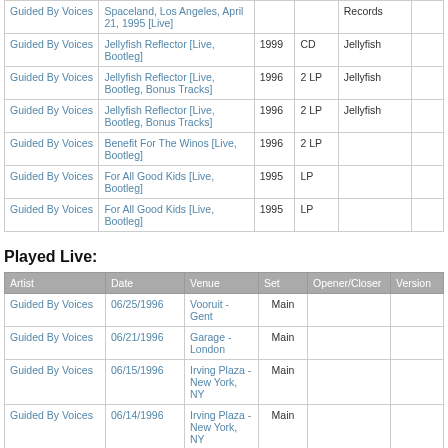| Artist | Title | Year | Format | Label |  |
| --- | --- | --- | --- | --- | --- |
| Guided By Voices | Spaceland, Los Angeles, April 21, 1995 [Live] |  |  | Records |  |
| Guided By Voices | Jellyfish Reflector [Live, Bootleg] | 1999 | CD | Jellyfish |  |
| Guided By Voices | Jellyfish Reflector [Live, Bootleg, Bonus Tracks] | 1996 | 2 LP | Jellyfish |  |
| Guided By Voices | Jellyfish Reflector [Live, Bootleg, Bonus Tracks] | 1996 | 2 LP | Jellyfish |  |
| Guided By Voices | Benefit For The Winos [Live, Bootleg] | 1996 | 2 LP |  |  |
| Guided By Voices | For All Good Kids [Live, Bootleg] | 1995 | LP |  |  |
| Guided By Voices | For All Good Kids [Live, Bootleg] | 1995 | LP |  |  |
Played Live:
| Artist | Date | Venue | Set | Opener/Closer | Version |
| --- | --- | --- | --- | --- | --- |
| Guided By Voices | 06/25/1996 | Vooruit - Gent | Main |  |  |
| Guided By Voices | 06/21/1996 | Garage - London | Main |  |  |
| Guided By Voices | 06/15/1996 | Irving Plaza - New York, NY | Main |  |  |
| Guided By Voices | 06/14/1996 | Irving Plaza - New York, NY | Main |  |  |
| Guided By Voices | 06/13/1996 | Axis - Boston, MA | Main |  |  |
| Guided By Voices | 06/11/1996 | Cabaret - Montreal | Main |  |  |
| Guided By Voices | 06/10/1996 | Opera House - Toronto | Main |  |  |